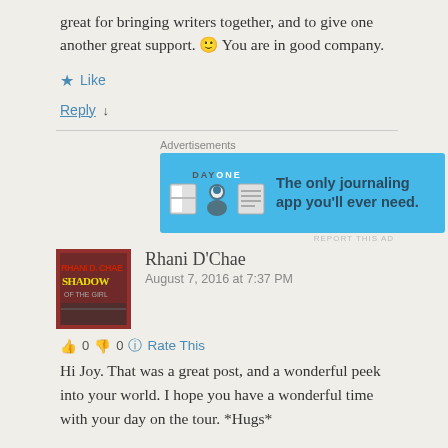great for bringing writers together, and to give one another great support. 🙂 You are in good company.
★ Like
Reply ↓
[Figure (infographic): Day One journaling app advertisement banner with light blue background, showing app icons and text: 'The only journaling app you'll ever need.']
Rhani D'Chae
August 7, 2016 at 7:37 PM
👍 0 👎 0 ℹ Rate This
Hi Joy. That was a great post, and a wonderful peek into your world. I hope you have a wonderful time with your day on the tour. *Hugs*